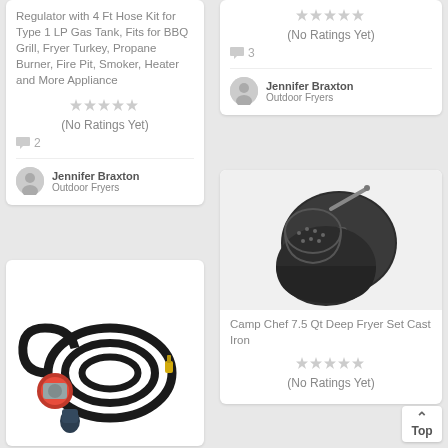Regulator with 4 Ft Hose Kit for Type 1 LP Gas Tank, Fits for BBQ Grill, Fryer Turkey, Propane Burner, Fire Pit, Smoker, Heater and More Appliance
(No Ratings Yet)
2
Jennifer Braxton
Outdoor Fryers
[Figure (photo): Propane regulator with 4 ft black hose and red regulator body with fittings]
(No Ratings Yet)
3
Jennifer Braxton
Outdoor Fryers
[Figure (photo): Camp Chef 7.5 Qt Deep Fryer Set Cast Iron - dark cast iron pot with lid and basket]
Camp Chef 7.5 Qt Deep Fryer Set Cast Iron
(No Ratings Yet)
Top